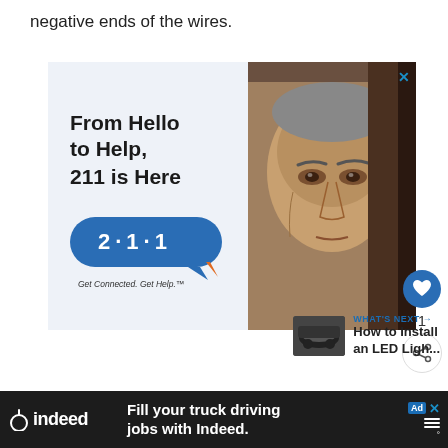negative ends of the wires.
[Figure (infographic): Advertisement for 211 helpline. Left side shows bold text 'From Hello to Help, 211 is Here' with a blue speech bubble logo reading '2·1·1' and tagline 'Get Connected. Get Help.™'. Right side shows a close-up photo of an elderly man's face.]
[Figure (infographic): What's Next teaser showing a thumbnail of a vehicle with text 'WHAT'S NEXT → How to Install an LED Ligh...']
[Figure (infographic): Bottom banner advertisement for Indeed.com showing logo and text 'Fill your truck driving jobs with Indeed.']